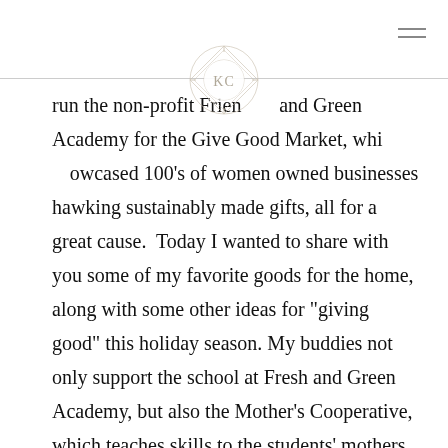[Figure (logo): Circular decorative logo/watermark with geometric diamond pattern and letters KC in the center, overlaid on top of the page]
run the non-profit Friends and Green Academy for the Give Good Market, which showcased 100's of women owned businesses hawking sustainably made gifts, all for a great cause.  Today I wanted to share with you some of my favorite goods for the home, along with some other ideas for "giving good" this holiday season. My buddies not only support the school at Fresh and Green Academy, but also the Mother's Cooperative, which teaches skills to the students' mothers encouraging to them support themselves, and helping to sell their amazing handmade wares. I own literally over 20 of their hand-woven scarves, which can also be used as holiday table runners. And the trivets are just perfect for hostess gifts. Ever wondered if those "handmade" gifts are really handmade? Here is a